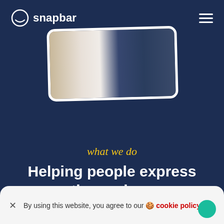snapbar
[Figure (photo): A person in a dark navy jacket and white shirt, photo shown in a tilted rounded-corner frame with white border]
what we do
Helping people express themselves
By using this website, you agree to our 🍪 cookie policy.